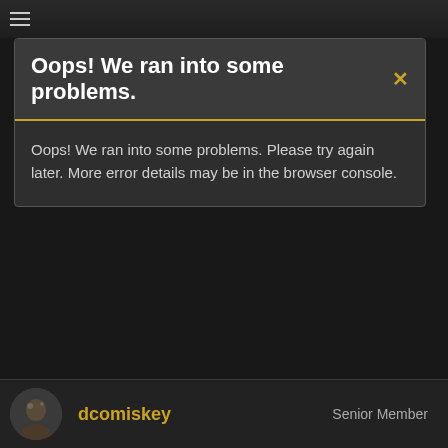Oops! We ran into some problems.
Oops! We ran into some problems. Please try again later. More error details may be in the browser console.
dcomiskey  Senior Member